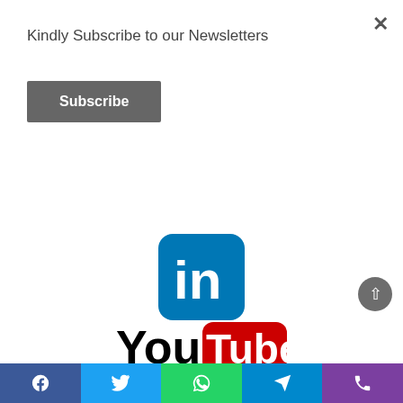Kindly Subscribe to our Newsletters
Subscribe
[Figure (logo): LinkedIn logo — blue rounded square with white 'in' text]
[Figure (logo): YouTube logo — 'You' in black text followed by red rounded rectangle with white 'Tube' text]
“Business is always a struggle. There are always obstacles and competitors. There is never an open road, except the wide road that leads to failure. Every great success has...
[Figure (infographic): Social sharing bar with Facebook, Twitter, WhatsApp, Telegram, and Phone icons]